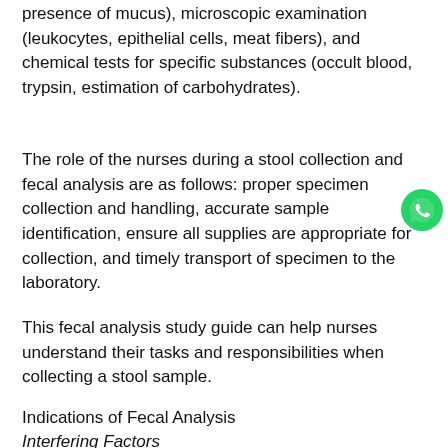presence of mucus), microscopic examination (leukocytes, epithelial cells, meat fibers), and chemical tests for specific substances (occult blood, trypsin, estimation of carbohydrates).
The role of the nurses during a stool collection and fecal analysis are as follows: proper specimen collection and handling, accurate sample identification, ensure all supplies are appropriate for collection, and timely transport of specimen to the laboratory.
This fecal analysis study guide can help nurses understand their tasks and responsibilities when collecting a stool sample.
Indications of Fecal Analysis
Interfering Factors